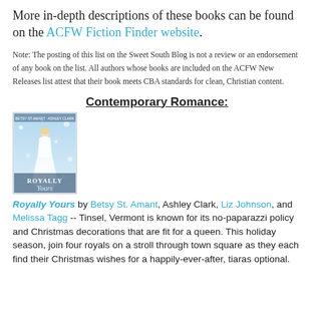More in-depth descriptions of these books can be found on the ACFW Fiction Finder website.
Note: The posting of this list on the Sweet South Blog is not a review or an endorsement of any book on the list. All authors whose books are included on the ACFW New Releases list attest that their book meets CBA standards for clean, Christian content.
Contemporary Romance:
[Figure (photo): Book cover of 'Royally Yours' showing a woman in a white gown against a snowy blue background with sparkles.]
Royally Yours by Betsy St. Amant, Ashley Clark, Liz Johnson, and Melissa Tagg -- Tinsel, Vermont is known for its no-paparazzi policy and Christmas decorations that are fit for a queen. This holiday season, join four royals on a stroll through town square as they each find their Christmas wishes for a happily-ever-after, tiaras optional.